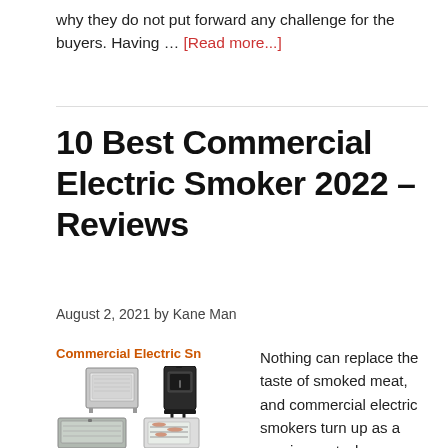why they do not put forward any challenge for the buyers. Having … [Read more...]
10 Best Commercial Electric Smoker 2022 – Reviews
August 2, 2021 by Kane Man
Commercial Electric Sn
[Figure (photo): Collage of commercial electric smokers showing multiple models]
Nothing can replace the taste of smoked meat, and commercial electric smokers turn up as a requirement when you are running a restaurant or food